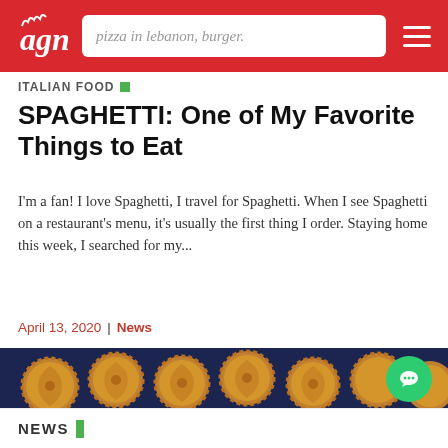pizza in lebanon, burger.
ITALIAN FOOD
SPAGHETTI: One of My Favorite Things to Eat
I'm a fan! I love Spaghetti, I travel for Spaghetti. When I see Spaghetti on a restaurant's menu, it's usually the first thing I order. Staying home this week, I searched for my...
April 13, 2020 | News
[Figure (photo): Overhead view of many small round baked pastries/mini pies arranged in rows on a dark blue surface]
NEWS